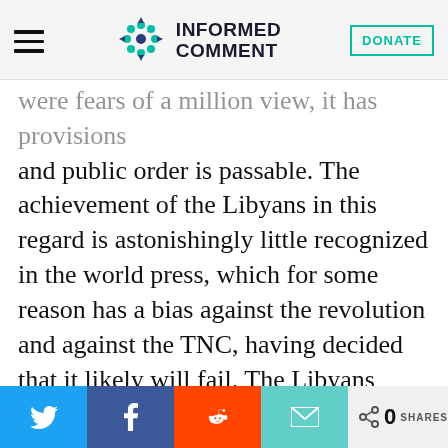INFORMED COMMENT
were fears of a million view, it has provisions and public order is passable. The achievement of the Libyans in this regard is astonishingly little recognized in the world press, which for some reason has a bias against the revolution and against the TNC, having decided that it likely will fail. The Libyans have put the lie to such pessimism repeatedly,including when they made a popular uprising against dictator Moammar Qaddafi in Tripoli itself, even before rebel troops could enter the city. The country
0 SHARES